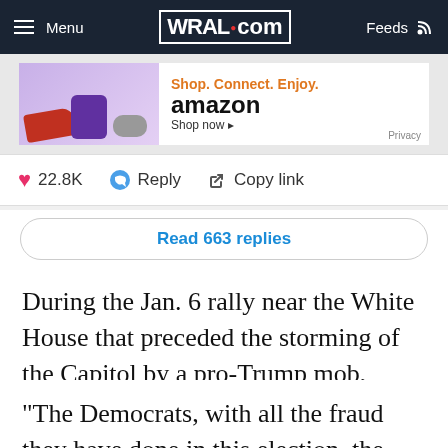Menu  WRAL.com  Feeds
[Figure (screenshot): Amazon advertisement banner: Shop. Connect. Enjoy. amazon Shop now. Privacy]
22.8K  Reply  Copy link
Read 663 replies
During the Jan. 6 rally near the White House that preceded the storming of the Capitol by a pro-Trump mob, Cawthorn called fellow members of Congress cowards.
"The Democrats, with all the fraud they have done in this election, the Republicans